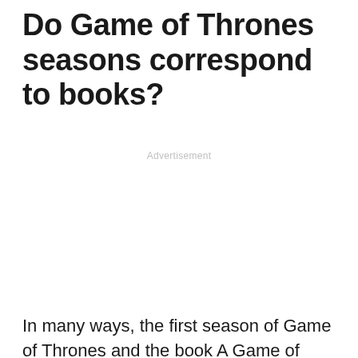Do Game of Thrones seasons correspond to books?
Advertisement
In many ways, the first season of Game of Thrones and the book A Game of Thrones are the same thing